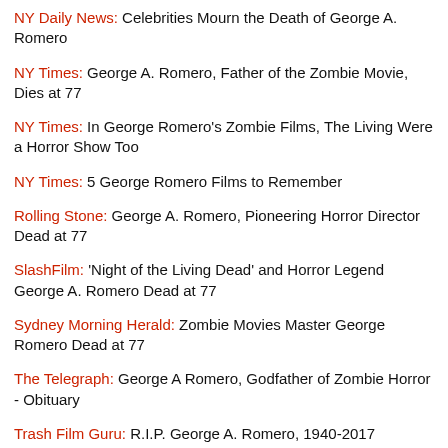NY Daily News: Celebrities Mourn the Death of George A. Romero
NY Times: George A. Romero, Father of the Zombie Movie, Dies at 77
NY Times: In George Romero's Zombie Films, The Living Were a Horror Show Too
NY Times: 5 George Romero Films to Remember
Rolling Stone: George A. Romero, Pioneering Horror Director Dead at 77
SlashFilm: 'Night of the Living Dead' and Horror Legend George A. Romero Dead at 77
Sydney Morning Herald: Zombie Movies Master George Romero Dead at 77
The Telegraph: George A Romero, Godfather of Zombie Horror - Obituary
Trash Film Guru: R.I.P. George A. Romero, 1940-2017